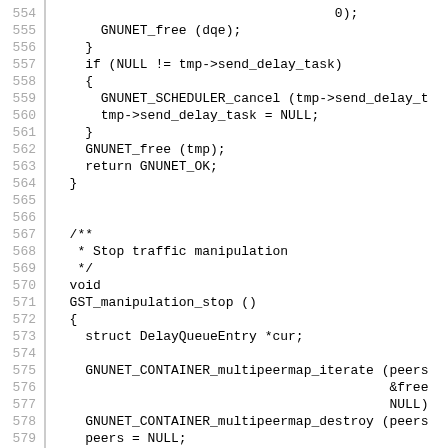Source code listing, lines 554-583, C code for GNUnet traffic manipulation stop function